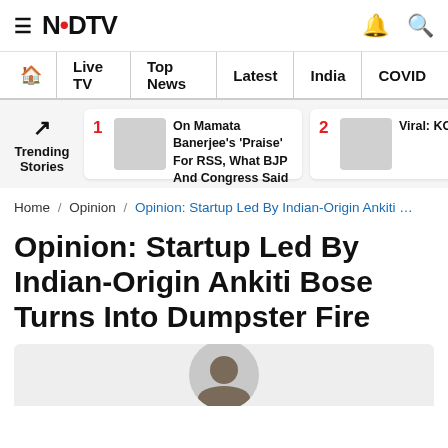NDTV
Live TV | Top News | Latest | India | COVID
Trending Stories — 1. On Mamata Banerjee's 'Praise' For RSS, What BJP And Congress Said | 2. Viral: KO Awkward 'PM Can'
Home / Opinion / Opinion: Startup Led By Indian-Origin Ankiti ...
Opinion: Startup Led By Indian-Origin Ankiti Bose Turns Into Dumpster Fire
[Figure (photo): Author headshot photo, partial view at bottom of page]